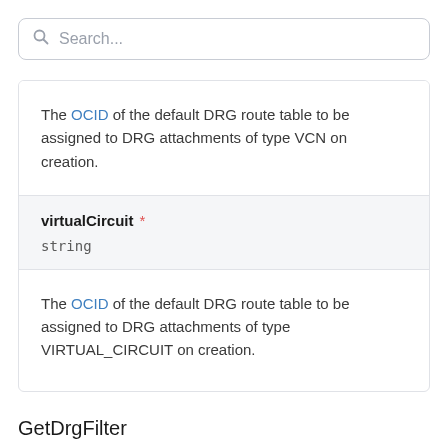Search...
The OCID of the default DRG route table to be assigned to DRG attachments of type VCN on creation.
virtualCircuit *
string
The OCID of the default DRG route table to be assigned to DRG attachments of type VIRTUAL_CIRCUIT on creation.
GetDrgFilter